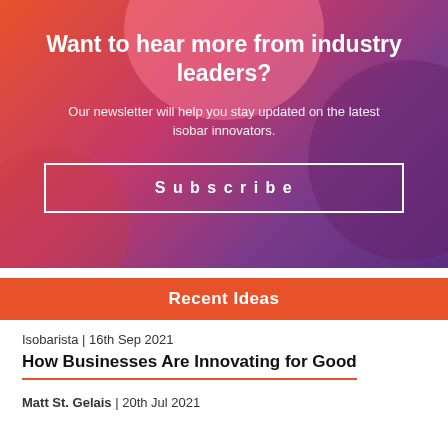[Figure (illustration): Gradient banner with orange-to-purple background, decorative circles, newsletter subscription call-to-action with title, subtitle, and Subscribe button]
Want to hear more from industry leaders?
Our newsletter will help you stay updated on the latest isobar innovators.
Subscribe
Recent Ideas
Isobarista | 16th Sep 2021
How Businesses Are Innovating for Good
Matt St. Gelais | 20th Jul 2021